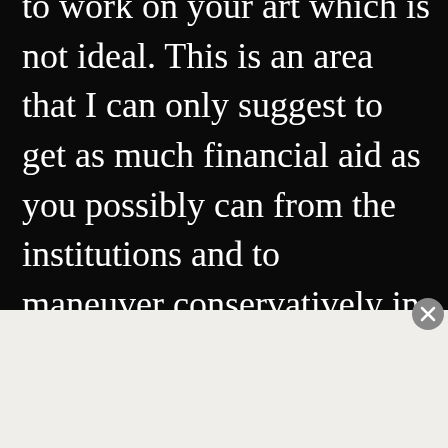to work on your art which is not ideal. This is an area that I can only suggest to get as much financial aid as you possibly can from the institutions and to maneuver conservatively in
[Figure (screenshot): DuckDuckGo advertisement banner with orange background. Text reads: 'Search, browse, and email with more privacy. All in One Free App'. Shows a smartphone with the DuckDuckGo duck logo.]